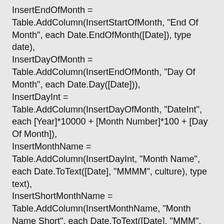InsertEndOfMonth =
Table.AddColumn(InsertStartOfMonth, "End Of Month", each Date.EndOfMonth([Date]), type date),
InsertDayOfMonth =
Table.AddColumn(InsertEndOfMonth, "Day Of Month", each Date.Day([Date])),
InsertDayInt = Table.AddColumn(InsertDayOfMonth, "DateInt", each [Year]*10000 + [Month Number]*100 + [Day Of Month]),
InsertMonthName = Table.AddColumn(InsertDayInt, "Month Name", each Date.ToText([Date], "MMMM", culture), type text),
InsertShortMonthName =
Table.AddColumn(InsertMonthName, "Month Name Short", each Date.ToText([Date], "MMM", culture), type text),
InsertShortMonthNameYear =
Table.AddColumn(InsertShortMonthName, "Month